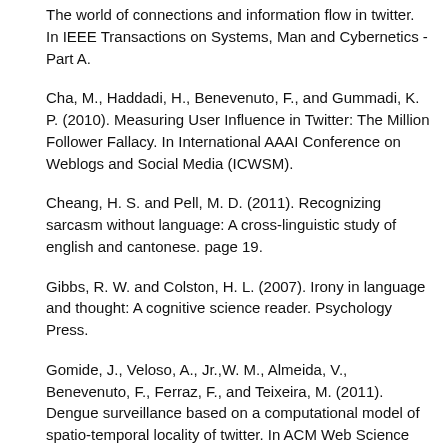The world of connections and information flow in twitter. In IEEE Transactions on Systems, Man and Cybernetics - Part A.
Cha, M., Haddadi, H., Benevenuto, F., and Gummadi, K. P. (2010). Measuring User Influence in Twitter: The Million Follower Fallacy. In International AAAI Conference on Weblogs and Social Media (ICWSM).
Cheang, H. S. and Pell, M. D. (2011). Recognizing sarcasm without language: A cross-linguistic study of english and cantonese. page 19.
Gibbs, R. W. and Colston, H. L. (2007). Irony in language and thought: A cognitive science reader. Psychology Press.
Gomide, J., Veloso, A., Jr.,W. M., Almeida, V., Benevenuto, F., Ferraz, F., and Teixeira, M. (2011). Dengue surveillance based on a computational model of spatio-temporal locality of twitter. In ACM Web Science Conference (WebSci).
González-Ibáñez, R., Muresan, S., andWacholder, N. (2011). Identifying sarcasm in twitter: A closer look. In Proceedings of the 49th Annual Meeting of the Association for Computational